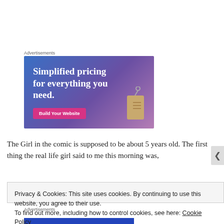Advertisements
[Figure (illustration): Advertisement banner with gradient blue-purple background showing text 'Simplified pricing for everything you need.' with a pink 'Build Your Website' button and a price tag image on the right.]
The Girl in the comic is supposed to be about 5 years old. The first thing the real life girl said to me this morning was,
Privacy & Cookies: This site uses cookies. By continuing to use this website, you agree to their use.
To find out more, including how to control cookies, see here: Cookie Policy
Advertisements